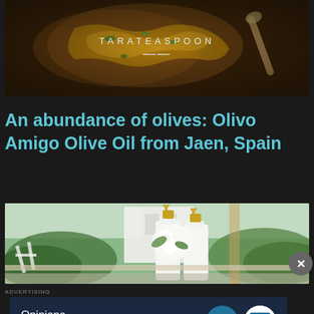[Figure (photo): Food photography showing a baked pastry dish on a dark wooden board, with text overlay reading TARATEASPOON and a spoon icon]
An abundance of olives: Olivo Amigo Olive Oil from Jaen, Spain
[Figure (photo): Outdoor photo showing two white olive oil bottles with gold pourers next to white flowers with green foliage in background]
ADVERTISING
[Figure (screenshot): Advertisement banner with dark navy background showing text 'Opinions. We all have them!' with WordPress logo and another circular logo on the right]